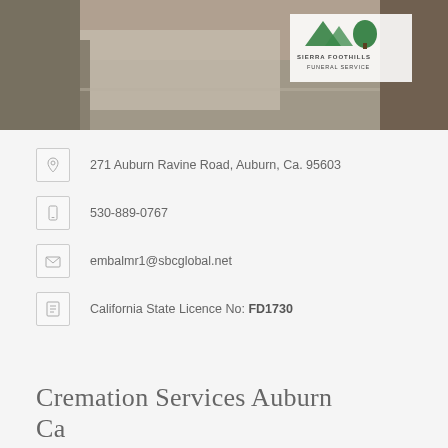[Figure (photo): Exterior photo of Sierra Foothills Funeral Service building/road view with company logo overlay in top-right corner showing a mountain and tree graphic with text 'SIERRA FOOTHILLS FUNERAL SERVICE']
271 Auburn Ravine Road, Auburn, Ca. 95603
530-889-0767
embalmr1@sbcglobal.net
California State Licence No: FD1730
Cremation Services Auburn Ca
The staff of Sierra Foothills Funeral Services takes this concept seriously – a funeral is a time to honor the life of the deceased and celebrate the heritage of their family. Scott strives to make each funeral a respectful, fulfilling experience that meets the unique needs of each family.